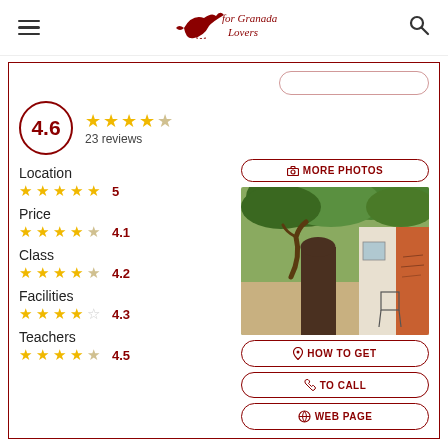[Figure (logo): For Granada Lovers logo with bird illustration and text]
4.6
23 reviews
Location
5
Price
4.1
Class
4.2
Facilities
4.3
Teachers
4.5
[Figure (photo): Outdoor courtyard of a Spanish school with green trees and white wall]
MORE PHOTOS
HOW TO GET
TO CALL
WEB PAGE